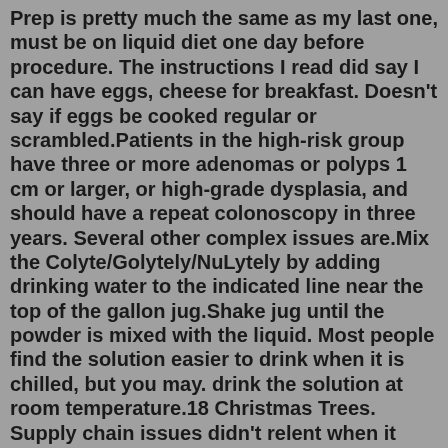Prep is pretty much the same as my last one, must be on liquid diet one day before procedure. The instructions I read did say I can have eggs, cheese for breakfast. Doesn't say if eggs be cooked regular or scrambled.Patients in the high-risk group have three or more adenomas or polyps 1 cm or larger, or high-grade dysplasia, and should have a repeat colonoscopy in three years. Several other complex issues are.Mix the Colyte/Golytely/NuLytely by adding drinking water to the indicated line near the top of the gallon jug.Shake jug until the powder is mixed with the liquid. Most people find the solution easier to drink when it is chilled, but you may. drink the solution at room temperature.18 Christmas Trees. Supply chain issues didn't relent when it came to the holidays— Christmas trees were in short supply during the 2021 holiday season. Each year, I usually purchase a 6-7 ...Posts : 2. Posted 2/7/2016 1:04 PM (GMT -7) I am prepping for my third colonoscopy today and decided to mix two tablespoons and (a just